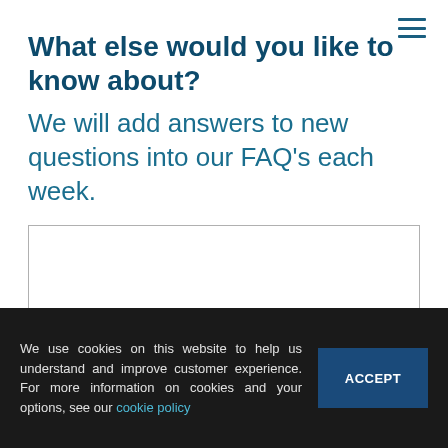What else would you like to know about?
We will add answers to new questions into our FAQ’s each week.
[Figure (other): Empty text input box with border for user to type a question]
We use cookies on this website to help us understand and improve customer experience. For more information on cookies and your options, see our cookie policy